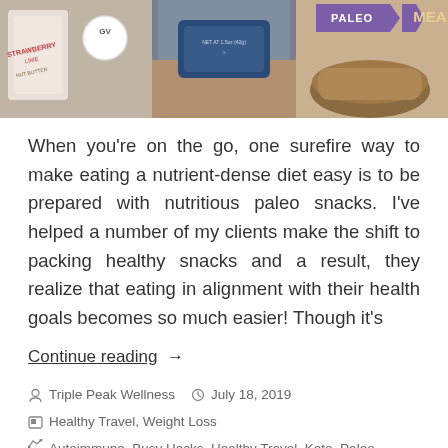[Figure (photo): Banner photo collage showing three images: a strawberry lime nut butter packet on the left, a blue food storage device in the center, and a paleo meal with a food bowl and PALEO label on the right]
When you’re on the go, one surefire way to make eating a nutrient-dense diet easy is to be prepared with nutritious paleo snacks. I’ve helped a number of my clients make the shift to packing healthy snacks and a result, they realize that eating in alignment with their health goals becomes so much easier! Though it’s
Continue reading →
Triple Peak Wellness   July 18, 2019
Healthy Travel, Weight Loss
Autoimmune, Busy Hacks, Healthy Travel, Keto, Paleo, Snack, Whole30
5 Comments